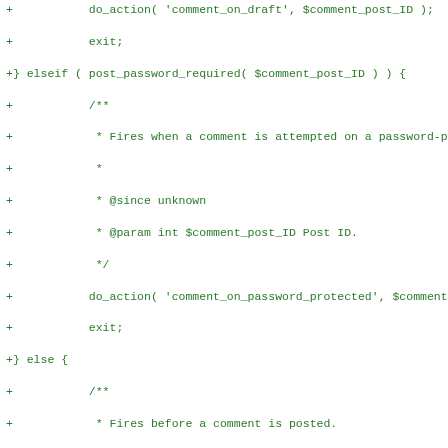[Figure (screenshot): Code diff screenshot showing PHP code with added lines (green, prefixed with +) for comment action hooks and variable assignments, removed lines (red with red background highlight) for $comment_author, $comment_author_email, $comment_author_url, $comment_content direct assignments, and added lines (green with green background) for isset() conditional assignments, plus context lines for // If the user is logged in and $user = wp_get_current_user();]